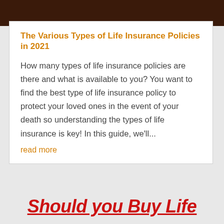[Figure (photo): Dark brown wood texture banner at the top of the page]
The Various Types of Life Insurance Policies in 2021
How many types of life insurance policies are there and what is available to you? You want to find the best type of life insurance policy to protect your loved ones in the event of your death so understanding the types of life insurance is key! In this guide, we'll...
read more
Should you Buy Life